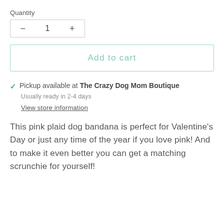Quantity
[Figure (other): Quantity selector UI with minus button, value 1, and plus button inside a bordered box]
[Figure (other): Add to cart button with teal border and teal text]
✓ Pickup available at The Crazy Dog Mom Boutique
Usually ready in 2-4 days
View store information
This pink plaid dog bandana is perfect for Valentine's Day or just any time of the year if you love pink! And to make it even better you can get a matching scrunchie for yourself!